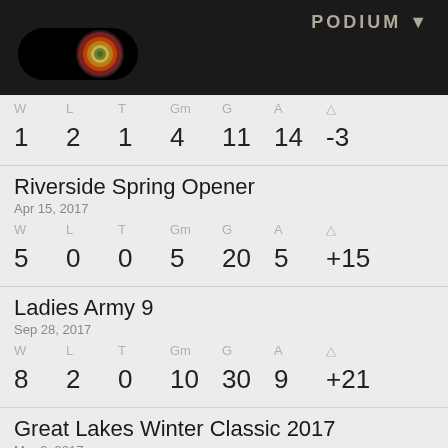[Figure (other): Dark top bar with PODIUM label and a circular toggle/badge icon showing concentric colored rings (green center, yellow, red, dark) on black pill background]
| W | L | T | Gm | G | A | △ |
| --- | --- | --- | --- | --- | --- | --- |
| 1 | 2 | 1 | 4 | 11 | 14 | -3 |
Riverside Spring Opener
Apr 15, 2017
| W | L | T | Gm | G | A | △ |
| --- | --- | --- | --- | --- | --- | --- |
| 5 | 0 | 0 | 5 | 20 | 5 | +15 |
Ladies Army 9
Sep 28, 2017
| W | L | T | Gm | G | A | △ |
| --- | --- | --- | --- | --- | --- | --- |
| 8 | 2 | 0 | 10 | 30 | 9 | +21 |
Great Lakes Winter Classic 2017
Mar 2, 2017
| W | L | T | Gm | G | A | △ |
| --- | --- | --- | --- | --- | --- | --- |
| 2 | 3 | 0 | 6 | 27 | 23 | +4 |